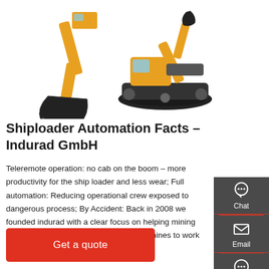[Figure (photo): Two yellow and black excavators/mining machines on white background — a bucket/claw attachment on the left and a tracked excavator on the right]
Shiploader Automation Facts – Indurad GmbH
Teleremote operation: no cab on the boom – more productivity for the ship loader and less wear; Full automation: Reducing operational crew exposed to dangerous process; By Accident: Back in 2008 we founded indurad with a clear focus on helping mining machinery in underground and open pit mines to work more efficiently and safely.
[Figure (infographic): Sidebar with dark grey background showing three icons: Chat (headset icon), Email (envelope icon), Contact (speech bubble icon), each separated by red horizontal lines]
Get a quote